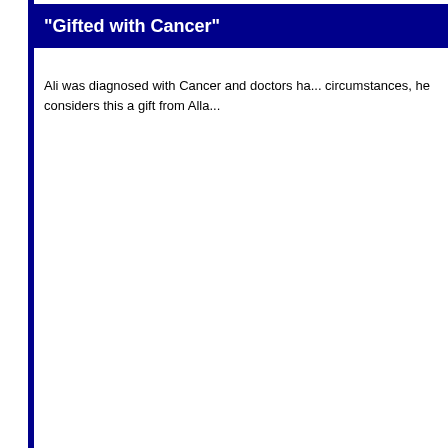"Gifted with Cancer"
Ali was diagnosed with Cancer and doctors ha... circumstances, he considers this a gift from Alla...